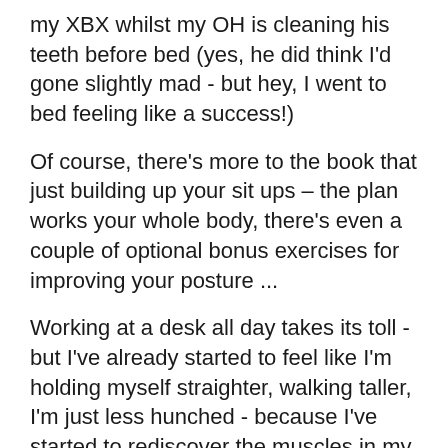my XBX whilst my OH is cleaning his teeth before bed (yes, he did think I'd gone slightly mad - but hey, I went to bed feeling like a success!)
Of course, there's more to the book that just building up your sit ups – the plan works your whole body, there's even a couple of optional bonus exercises for improving your posture ...
Working at a desk all day takes its toll - but I've already started to feel like I'm holding myself straighter, walking taller, I'm just less hunched - because I've started to rediscover the muscles in my shoulders, core and back. Woo hoo!
There's 8 exercises per day (plus 2 optionals for posture) which increase in repetitions at each level.